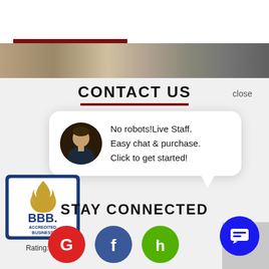[Figure (photo): Top banner image showing a room interior with wooden floor and stone/brick wall, with a dark red horizontal bar visible]
CONTACT US
close
No robots! Live Staff.
Easy chat & purchase.
Click to get started!
[Figure (logo): BBB Accredited Business logo with flame icon, Rating: A+]
STAY CONNECTED
[Figure (infographic): Social media icons: Google (red), Facebook (dark blue), Houzz (green)]
[Figure (infographic): Blue circular chat widget button with message icon in bottom right corner]